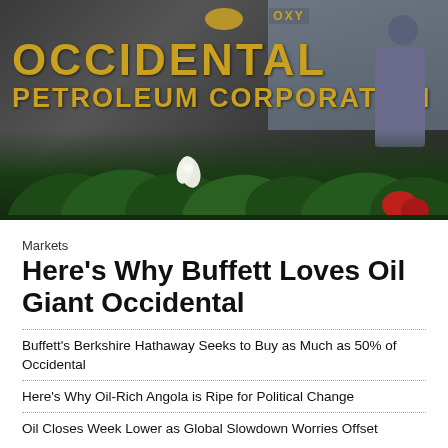[Figure (photo): Photograph of the Occidental Petroleum Corporation corporate sign with gold lettering on dark background, green tropical plants and a white flower in foreground, person silhouette visible at upper right]
Markets
Here’s Why Buffett Loves Oil Giant Occidental
Buffett’s Berkshire Hathaway Seeks to Buy as Much as 50% of Occidental
Here’s Why Oil-Rich Angola is Ripe for Political Change
Oil Closes Week Lower as Global Slowdown Worries Offset